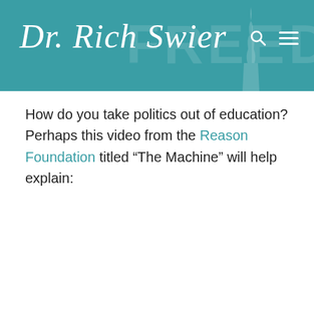Dr. Rich Swier
How do you take politics out of education? Perhaps this video from the Reason Foundation titled “The Machine” will help explain:
[Figure (screenshot): Embedded YouTube video thumbnail for 'The Machine: The Truth Behind Teachers' Unions' by Reason Foundation, showing bold white text 'THE MACHINE' over dark background with subtitle 'THE TRUTH BEHIND TEACHERS’ UNION' and a YouTube play button in the center.]